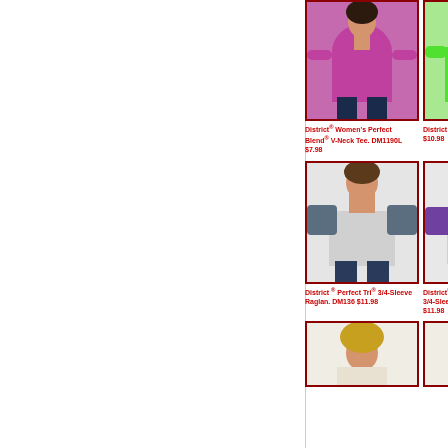[Figure (photo): Woman in purple/magenta V-neck tee - District Women's Perfect Blend V-Neck Tee DM1190L]
District® Women's Perfect Blend® V-Neck Tee. DM1190L $7.98
[Figure (photo): Man in green Perfect Tri Tee - District Perfect Tri Tee DM130]
District ® Perfect Tri®Tee. DM130 $10.98
[Figure (photo): Woman in blue/lavender tee - District Women's Perfect Tri Tee DM130L]
District ® Women's Perfect Tri® Tee. DM130L $9.98
[Figure (photo): Man in grey raglan 3/4 sleeve - District Perfect Tri 3/4-Sleeve Raglan DM136]
District ® Perfect Tri® 3/4-Sleeve Raglan. DM136 $11.98
[Figure (photo): Woman in grey/purple 3/4 sleeve raglan - District Women's Perfect Tri 3/4-Sleeve Raglan DM136L]
District® Women's Perfect Tri® 3/4-Sleeve Raglan. DM136L $11.98
[Figure (photo): Woman in cyan racerback tank - District Women's Perfect Tri Racerback Tank DM138L]
District ® Women's Perfect Tri® Racerback Tank. DM138L $9.98
[Figure (photo): Woman with blonde hair - bottom row product]
[Figure (photo): Woman with dark hair - bottom row product]
[Figure (photo): Man - bottom row product]